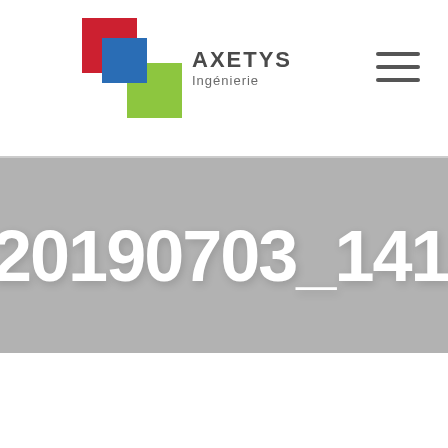AXETYS Ingénierie
[Figure (logo): AXETYS Ingénierie logo with colored square tiles (red, blue, green) and hamburger menu icon]
20190703_141504